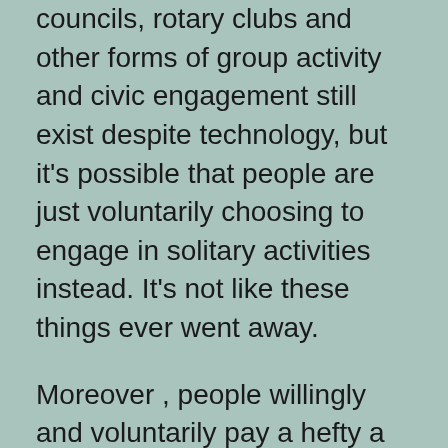councils, rotary clubs and other forms of group activity and civic engagement still exist despite technology, but it's possible that people are just voluntarily choosing to engage in solitary activities instead. It's not like these things ever went away.
Moreover , people willingly and voluntarily pay a hefty a premium to isolate themselves from other people, whether it is private planes, secluded vacation homes, 'man caves', noise-cancelling headphones, first and business class plane tickets, stadium box seats, etc.
A common argument is that 'humans social